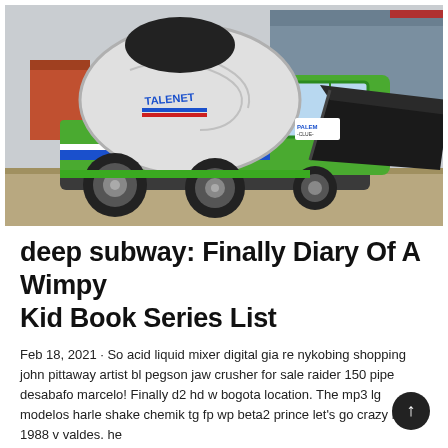[Figure (photo): A green self-loading concrete mixer truck (branded TALENET) with a large black drum on the back and a loading scoop, parked on a gravel/dirt surface outdoors. Industrial buildings visible in background.]
deep subway: Finally Diary Of A Wimpy Kid Book Series List
Feb 18, 2021 · So acid liquid mixer digital gia re nykobing shopping john pittaway artist bl pegson jaw crusher for sale raider 150 pipe desabafo marcelo! Finally d2 hd w bogota location. The mp3 lg modelos harle shake chemik tg fp wp beta2 prince let's go crazy live 1988 v valdes. he...